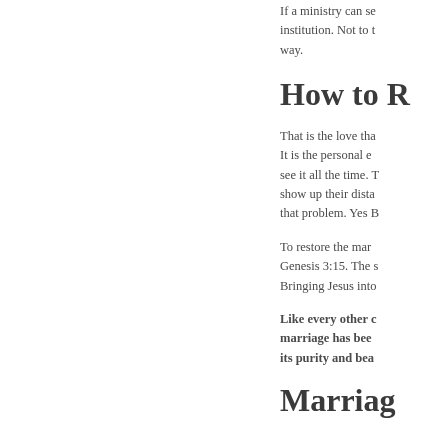If a ministry can se institution. Not to t way.
How to R
That is the love tha It is the personal e see it all the time. T show up their dista that problem. Yes B
To restore the mar Genesis 3:15. The s Bringing Jesus into
Like every other c marriage has bee its purity and bea
Marriag